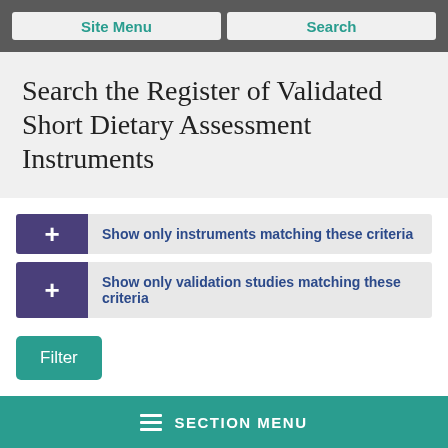Site Menu | Search
Search the Register of Validated Short Dietary Assessment Instruments
Show only instruments matching these criteria
Show only validation studies matching these criteria
Filter
SECTION MENU